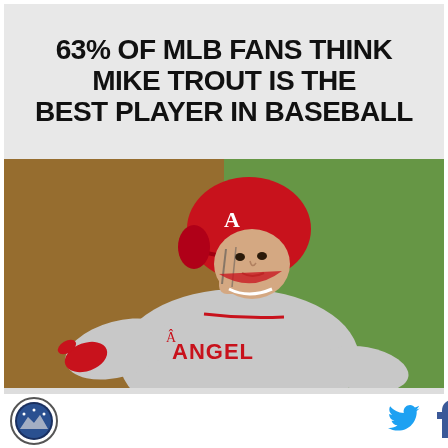63% OF MLB FANS THINK MIKE TROUT IS THE BEST PLAYER IN BASEBALL
[Figure (photo): Mike Trout in LA Angels uniform, wearing red helmet, pointing with gloved hand, running the bases]
[Figure (logo): Circular logo with mountain/skyline design in blue and white]
[Figure (other): Twitter bird icon in blue]
[Figure (other): Facebook f icon in dark blue/navy]